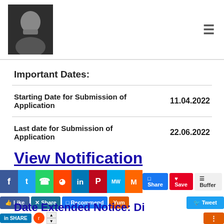[Photo of person] [Hamburger menu icon]
Important Dates:
|  |  |
| --- | --- |
| Starting Date for Submission of Application | 11.04.2022 |
| Last date for Submission of Application | 22.06.2022 |
View Notification
Date Extended Notice: Di